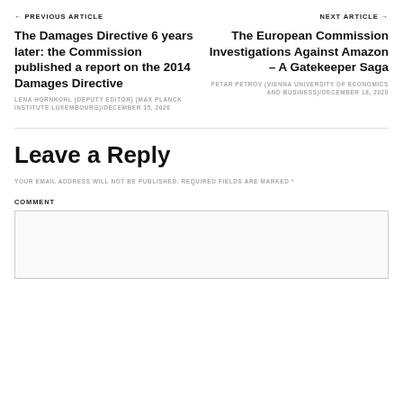← PREVIOUS ARTICLE
NEXT ARTICLE →
The Damages Directive 6 years later: the Commission published a report on the 2014 Damages Directive
LENA HORNKOHL (DEPUTY EDITOR) (MAX PLANCK INSTITUTE LUXEMBOURG)/DECEMBER 15, 2020
The European Commission Investigations Against Amazon – A Gatekeeper Saga
PETAR PETROV (VIENNA UNIVERSITY OF ECONOMICS AND BUSINESS)/DECEMBER 18, 2020
Leave a Reply
YOUR EMAIL ADDRESS WILL NOT BE PUBLISHED. REQUIRED FIELDS ARE MARKED *
COMMENT